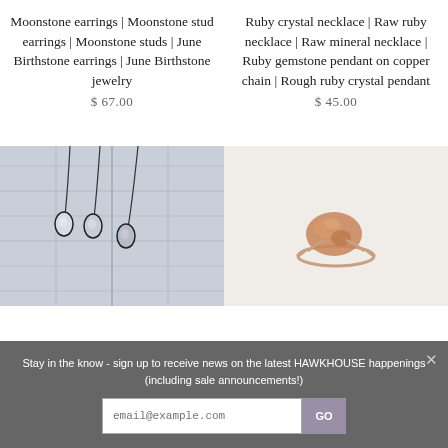Moonstone earrings | Moonstone stud earrings | Moonstone studs | June Birthstone earrings | June Birthstone jewelry
$67.00
Ruby crystal necklace | Raw ruby necklace | Raw mineral necklace | Ruby gemstone pendant on copper chain | Rough ruby crystal pendant
$45.00
[Figure (photo): Three teardrop-shaped moonstone pendants hanging on dark chains against a grey wooden background]
[Figure (photo): A rough orange/copper mineral stone ring on a light background]
Stay in the know - sign up to receive news on the latest HAWKHOUSE happenings (including sale announcements!)
email@example.com
GO